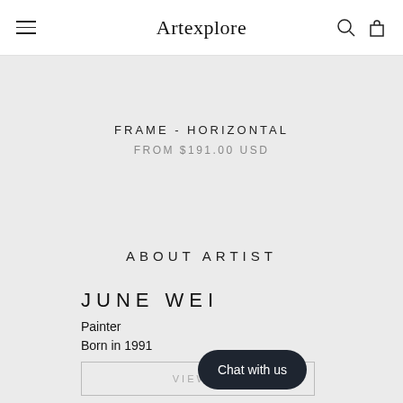Artexplore
FRAME - HORIZONTAL
FROM $191.00 USD
ABOUT ARTIST
JUNE WEI
Painter
Born in 1991
VIEW P...
Chat with us